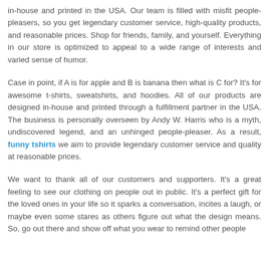in-house and printed in the USA. Our team is filled with misfit people-pleasers, so you get legendary customer service, high-quality products, and reasonable prices. Shop for friends, family, and yourself. Everything in our store is optimized to appeal to a wide range of interests and varied sense of humor.
Case in point, if A is for apple and B is banana then what is C for? It's for awesome t-shirts, sweatshirts, and hoodies. All of our products are designed in-house and printed through a fulfillment partner in the USA. The business is personally overseen by Andy W. Harris who is a myth, undiscovered legend, and an unhinged people-pleaser. As a result, funny tshirts we aim to provide legendary customer service and quality at reasonable prices.
We want to thank all of our customers and supporters. It's a great feeling to see our clothing on people out in public. It's a perfect gift for the loved ones in your life so it sparks a conversation, incites a laugh, or maybe even some stares as others figure out what the design means. So, go out there and show off what you wear to remind other people